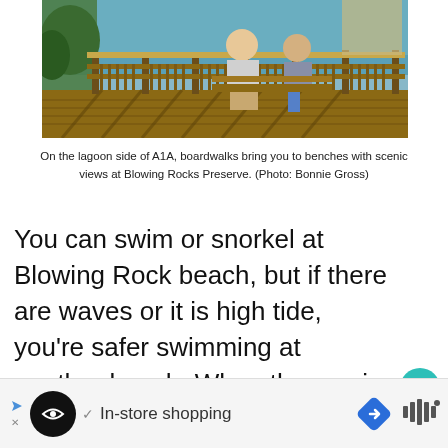[Figure (photo): Two people sitting on benches on a wooden boardwalk/deck with railing overlooking a lagoon, at Blowing Rocks Preserve.]
On the lagoon side of A1A, boardwalks bring you to benches with scenic views at Blowing Rocks Preserve. (Photo: Bonnie Gross)
You can swim or snorkel at Blowing Rock beach, but if there are waves or it is high tide, you’re safer swimming at another beach. When the sea is calm, the rocks make for good snorkeling.
[Figure (screenshot): Advertisement bar with app icon, checkmark, 'In-store shopping' text, navigation arrow icon, and wavy audio icon.]